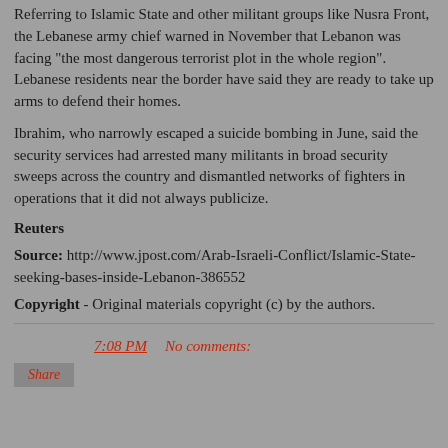Referring to Islamic State and other militant groups like Nusra Front, the Lebanese army chief warned in November that Lebanon was facing "the most dangerous terrorist plot in the whole region". Lebanese residents near the border have said they are ready to take up arms to defend their homes.
Ibrahim, who narrowly escaped a suicide bombing in June, said the security services had arrested many militants in broad security sweeps across the country and dismantled networks of fighters in operations that it did not always publicize.
Reuters
Source: http://www.jpost.com/Arab-Israeli-Conflict/Islamic-State-seeking-bases-inside-Lebanon-386552
Copyright - Original materials copyright (c) by the authors.
7:08 PM   No comments: